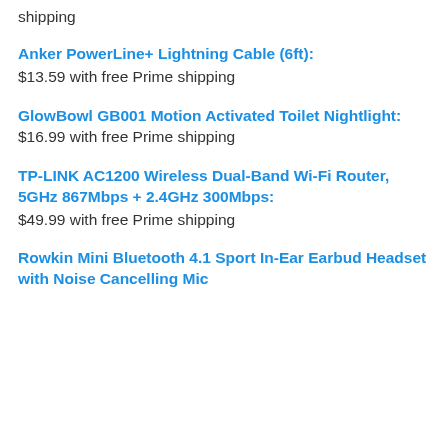shipping
Anker PowerLine+ Lightning Cable (6ft): $13.59 with free Prime shipping
GlowBowl GB001 Motion Activated Toilet Nightlight: $16.99 with free Prime shipping
TP-LINK AC1200 Wireless Dual-Band Wi-Fi Router, 5GHz 867Mbps + 2.4GHz 300Mbps: $49.99 with free Prime shipping
Rowkin Mini Bluetooth 4.1 Sport In-Ear Earbud Headset with Noise Cancelling Mic